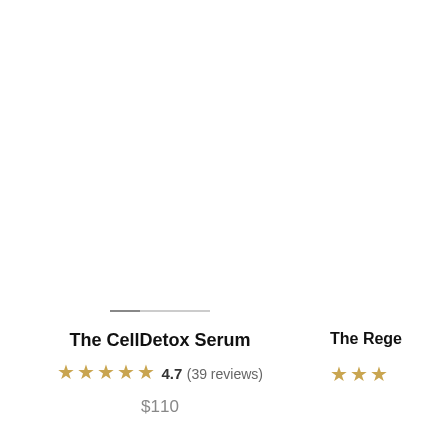[Figure (photo): Product image area for The CellDetox Serum, white background, partially visible divider line]
The CellDetox Serum
★★★★★ 4.7 (39 reviews)
$110
[Figure (photo): Partial product image area for The Rege... (second product, cropped on right edge)]
The Rege...
★★★